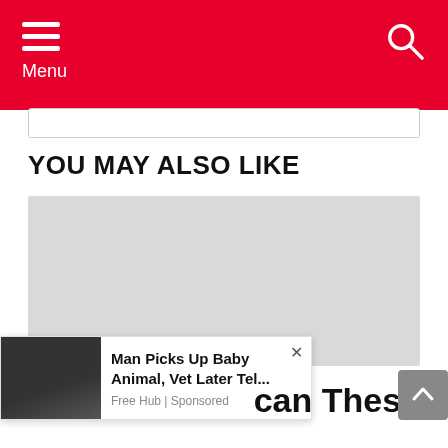Menu
YOU MAY ALSO LIKE
[Figure (photo): Gray placeholder image for article thumbnail in 'You May Also Like' section]
[Figure (photo): Advertisement overlay: thumbnail of hands holding a small dark animal. Title: 'Man Picks Up Baby Animal, Vet Later Tel...' Source: Free Hub | Sponsored]
can These